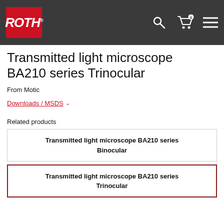ROTH — navigation header with logo, search, cart, and menu
Transmitted light microscope BA210 series Trinocular
From  Motic
Downloads / MSDS
Related products
Transmitted light microscope BA210 series Binocular
Transmitted light microscope BA210 series Trinocular